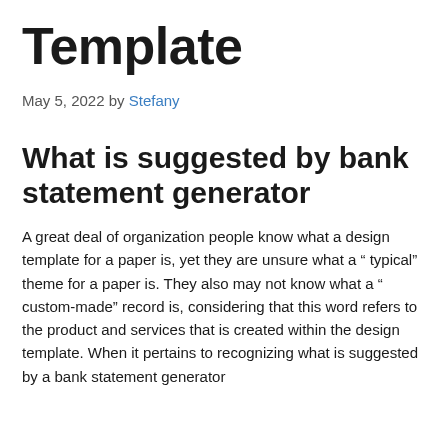Template
May 5, 2022 by Stefany
What is suggested by bank statement generator
A great deal of organization people know what a design template for a paper is, yet they are unsure what a “ typical” theme for a paper is. They also may not know what a “ custom-made” record is, considering that this word refers to the product and services that is created within the design template. When it pertains to recognizing what is suggested by a bank statement generator